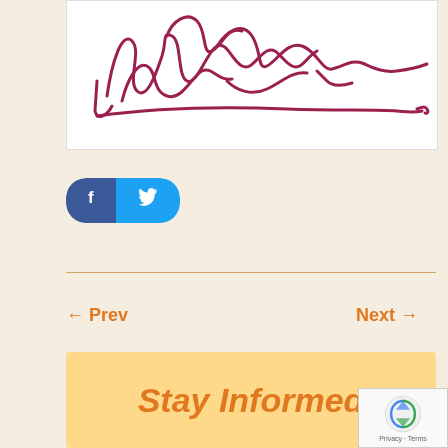[Figure (illustration): A handwritten signature in dark crimson/maroon ink on white background]
[Figure (other): Social sharing buttons: Facebook (dark blue, left half) and Twitter (light blue, right half), pill-shaped]
← Prev
Next →
Stay Informed